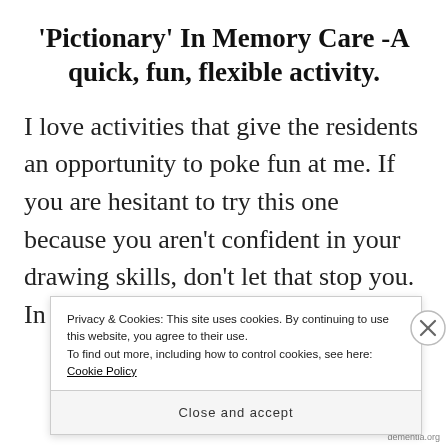'Pictionary' In Memory Care -A quick, fun, flexible activity.
I love activities that give the residents an opportunity to poke fun at me. If you are hesitant to try this one because you aren't confident in your drawing skills, don't let that stop you. In my experience,
Privacy & Cookies: This site uses cookies. By continuing to use this website, you agree to their use.
To find out more, including how to control cookies, see here: Cookie Policy
Close and accept